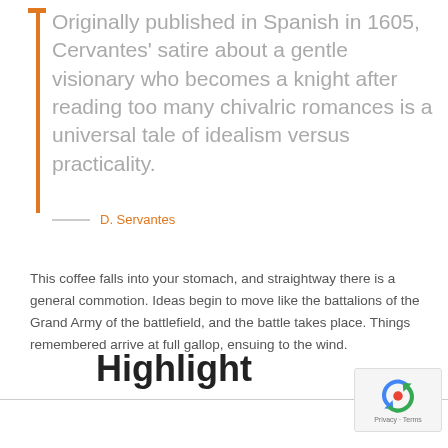Originally published in Spanish in 1605, Cervantes' satire about a gentle visionary who becomes a knight after reading too many chivalric romances is a universal tale of idealism versus practicality.
— D. Servantes
This coffee falls into your stomach, and straightway there is a general commotion. Ideas begin to move like the battalions of the Grand Army of the battlefield, and the battle takes place. Things remembered arrive at full gallop, ensuing to the wind.
Highlight